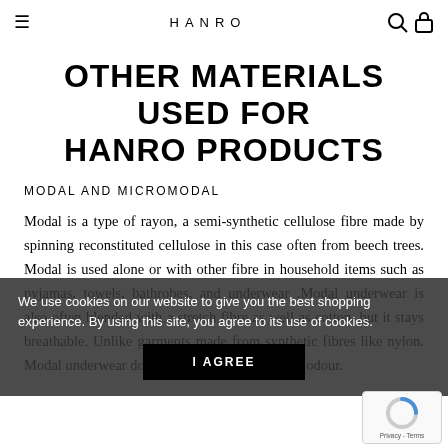≡  HANRO  🔍 🔒
OTHER MATERIALS USED FOR HANRO PRODUCTS
MODAL AND MICROMODAL
Modal is a type of rayon, a semi-synthetic cellulose fibre made by spinning reconstituted cellulose in this case often from beech trees. Modal is used alone or with other fibre in household items such as pyjamas, towels, bathrobes, and underwear .Modal underwear is also often blended with a stretch fibre as well as cotton, but it stays breathable. Unlike garments made from synthetic fibres like nylon. Modal underwear does not trap perspiration and odour.
We use cookies on our website to give you the best shopping experience. By using this site, you agree to its use of cookies.
I AGREE